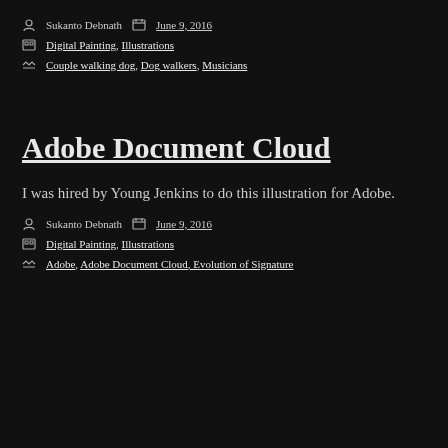Sukanto Debnath   June 9, 2016
Digital Painting, Illustrations
Couple walking dog, Dog walkers, Musicians
Adobe Document Cloud
I was hired by Young Jenkins to do this illustration for Adobe.
Sukanto Debnath   June 9, 2016
Digital Painting, Illustrations
Adobe, Adobe Document Cloud, Evolution of Signature